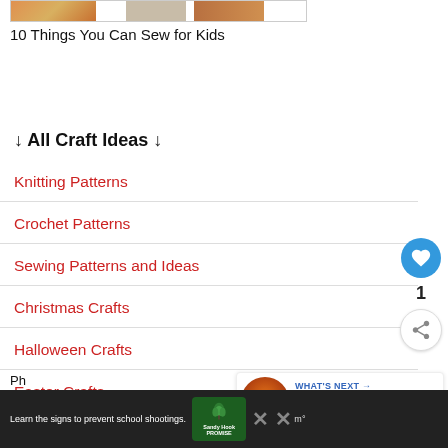[Figure (photo): Partial top image strip showing colorful crafts/sewing items]
10 Things You Can Sew for Kids
↓ All Craft Ideas ↓
Knitting Patterns
Crochet Patterns
Sewing Patterns and Ideas
Christmas Crafts
Halloween Crafts
Easter Crafts
[Figure (photo): What's Next panel showing Sunflower Pumpkin Do... with a pumpkin image]
Learn the signs to prevent school shootings. Sandy Hook Promise